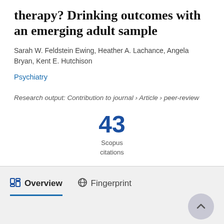therapy? Drinking outcomes with an emerging adult sample
Sarah W. Feldstein Ewing, Heather A. Lachance, Angela Bryan, Kent E. Hutchison
Psychiatry
Research output: Contribution to journal › Article › peer-review
43
Scopus
citations
Overview   Fingerprint